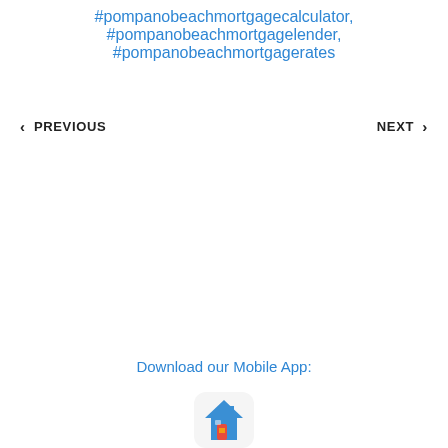#pompanobeachmortgagecalculator, #pompanobeachmortgagelender, #pompanobeachmortgagerates
< PREVIOUS
NEXT >
Download our Mobile App:
[Figure (logo): Mobile app icon with house graphic in blue, red, and yellow colors on a light gray rounded square background]